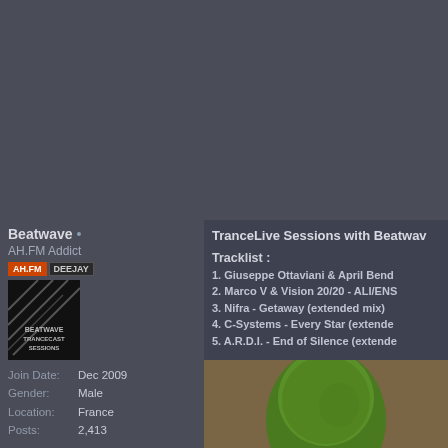Beatwave •
AH.FM Addict
[Figure (logo): AH.FM and DEEJAY badges]
[Figure (illustration): Beatwave Trancecast Sessions logo - dark square with diagonal lines]
Join Date: Dec 2009
Gender: Male
Location: France
Posts: 2,413
TranceLive Sessions with Beatwave
Tracklist :
1. Giuseppe Ottaviani & April Bend
2. Marco V & Vision 20/20 - ALI/ENS
3. Nifra - Getaway (extended mix)
4. C-Systems - Every Star (extende
5. A.R.D.I. - End of Silence (extende
[Figure (photo): Green-headed figure/avatar photo]